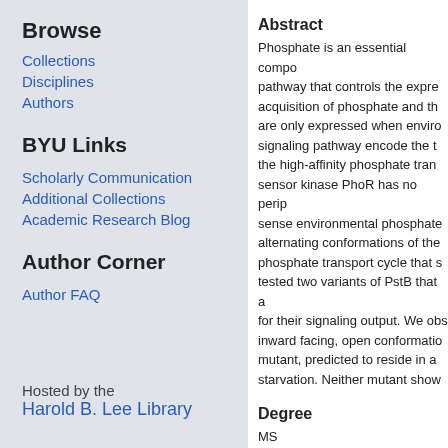Browse
Collections
Disciplines
Authors
BYU Links
Scholarly Communication
Additional Collections
Academic Research Blog
Author Corner
Author FAQ
Hosted by the Harold B. Lee Library
Abstract
Phosphate is an essential compo pathway that controls the expre acquisition of phosphate and th are only expressed when enviro signaling pathway encode the t the high-affinity phosphate tran sensor kinase PhoR has no perip sense environmental phosphate alternating conformations of the phosphate transport cycle that s tested two variants of PstB that a for their signaling output. We obs inward facing, open conformatio mutant, predicted to reside in a starvation. Neither mutant show
Degree
MS
College and Department
Life Sciences; Microbiology and M
Rights
http://lib.byu.edu/about/copyri